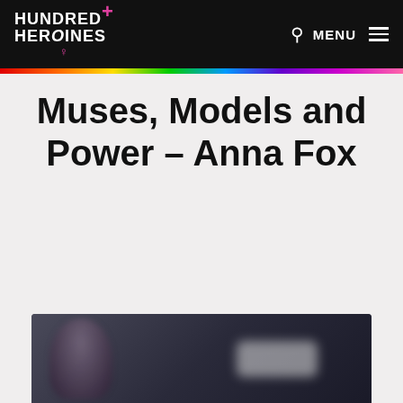HUNDRED+ HEROINES ♀
Muses, Models and Power – Anna Fox
[Figure (photo): Partially blurred photograph of a person, dark background with a blurred white/light rectangle in the lower right portion of the image]